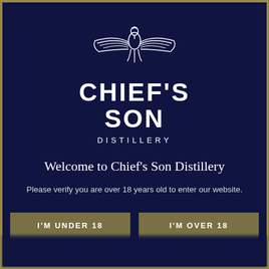[Figure (logo): Chief's Son Distillery eagle/bird logo — white line-art bird with spread wings centered on dark navy background]
CHIEF'S SON
DISTILLERY
Welcome to Chief's Son Distillery
Please verify you are over 18 years old to enter our website.
I'M UNDER 18
I'M OVER 18